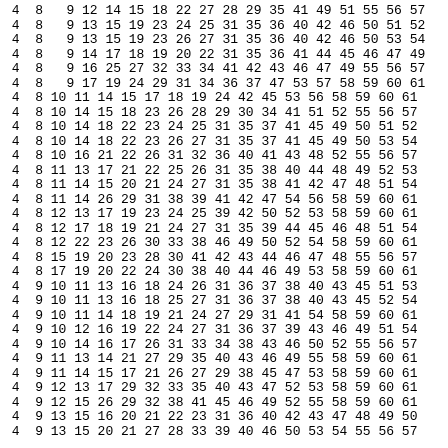4  8   9 12 14 15 18 22 27 28 29 35 41 49 51 55 56 57
4  8   9 13 15 19 23 24 25 31 35 36 40 42 46 50 51 52
4  8   9 13 15 19 23 26 27 31 35 36 40 42 46 50 53 54
4  8   9 14 17 18 19 20 22 31 35 36 41 44 45 46 47 49
4  8   9 16 25 27 32 33 34 41 42 43 46 47 49 55 56 57
4  8   9 17 19 24 29 31 34 36 37 47 53 57 58 59 60 61
4  8 10 11 14 15 17 18 19 24 42 45 53 56 58 59 60 61
4  8 10 14 15 18 23 26 28 29 30 34 41 51 52 55 56 57
4  8 10 14 18 22 23 24 25 31 35 37 41 45 49 50 51 52
4  8 10 14 18 22 23 26 27 31 35 37 41 45 49 50 53 54
4  8 10 16 21 22 26 31 32 36 40 41 43 48 52 55 56 57
4  8 11 13 17 21 22 25 26 31 35 38 40 44 48 49 52 53
4  8 11 14 15 20 21 24 27 31 35 38 41 42 47 48 51 54
4  8 11 14 26 29 31 38 39 41 42 47 54 56 58 59 60 61
4  8 12 13 17 19 23 24 25 39 42 50 52 53 58 59 60 61
4  8 12 17 18 19 21 24 27 31 35 39 44 45 46 48 51 54
4  8 12 22 23 26 30 33 38 46 49 50 52 54 58 59 60 61
4  8 15 19 20 23 28 30 41 42 43 44 46 47 48 55 56 57
4  8 17 19 20 22 24 30 38 40 44 46 49 53 58 59 60 61
4  9 10 11 13 16 18 24 26 31 36 37 38 40 43 45 51 53
4  9 10 11 13 16 18 25 27 31 36 37 38 40 43 45 52 54
4  9 10 11 14 18 19 21 24 27 29 31 41 54 58 59 60 61
4  9 10 12 16 19 22 24 27 31 36 37 39 43 46 49 51 54
4  9 10 14 16 17 26 31 33 34 38 43 46 50 52 55 56 57
4  9 11 13 14 21 27 29 35 40 43 46 49 55 58 59 60 61
4  9 11 14 15 17 21 26 27 29 38 45 47 53 58 59 60 61
4  9 12 13 17 29 32 33 35 40 43 47 52 53 58 59 60 61
4  9 12 15 26 29 32 38 41 45 46 49 52 55 58 59 60 61
4  9 13 15 16 20 21 22 23 31 36 40 42 43 47 48 49 50
4  9 13 15 20 21 27 28 33 39 40 46 50 53 54 55 56 57